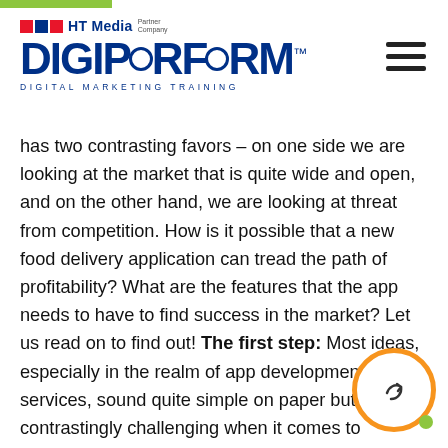HT Media Partner Company | DIGIPERFORM | DIGITAL MARKETING TRAINING
has two contrasting favors – on one side we are looking at the market that is quite wide and open, and on the other hand, we are looking at threat from competition. How is it possible that a new food delivery application can tread the path of profitability? What are the features that the app needs to have to find success in the market? Let us read on to find out! The first step: Most ideas, especially in the realm of app development for services, sound quite simple on paper but are contrastingly challenging when it comes to execution. A few points of experience can considerably increase the possibility of your success in the business. Experience in the field of restaurant management is a massive plus. It only gets better if you have already established a